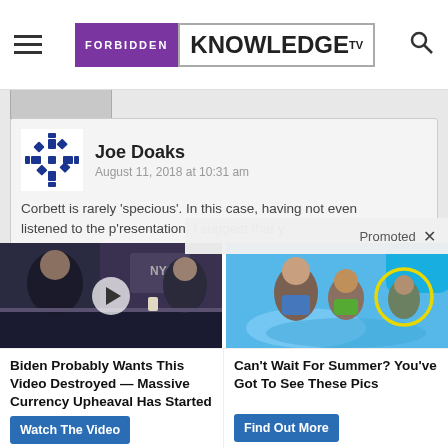FORBIDDEN KNOWLEDGE TV
Joe Doaks
August 11, 2018 at 10:31 am
Corbett is rarely 'specious'. In this case, having not even listened to the p'resentation, I suggest that y
Promoted
[Figure (photo): Video thumbnail showing a man being interviewed on a TV set with a play button overlay]
[Figure (photo): Photo of people at a water park/pool with a yellow circle highlight]
Biden Probably Wants This Video Destroyed — Massive Currency Upheaval Has Started
Watch The Video
Can't Wait For Summer? You've Got To See These Pics
Find Out More